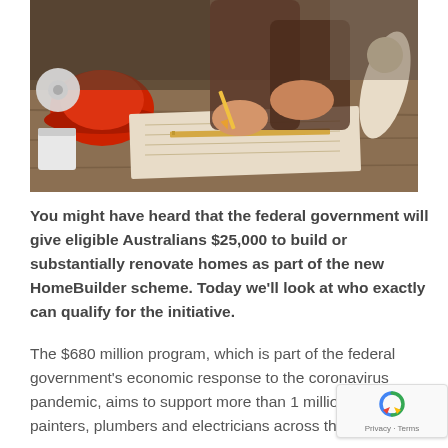[Figure (photo): Construction workers reviewing blueprints on a table with a red hard hat, tape measure, pencils, and rolled paper plans visible.]
You might have heard that the federal government will give eligible Australians $25,000 to build or substantially renovate homes as part of the new HomeBuilder scheme. Today we'll look at who exactly can qualify for the initiative.
The $680 million program, which is part of the federal government's economic response to the coronavirus pandemic, aims to support more than 1 million builders, painters, plumbers and electricians across the country.